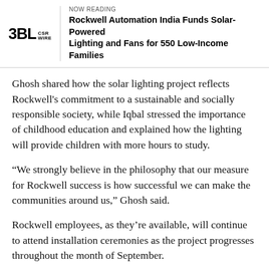NOW READING
Rockwell Automation India Funds Solar-Powered Lighting and Fans for 550 Low-Income Families
Ghosh shared how the solar lighting project reflects Rockwell's commitment to a sustainable and socially responsible society, while Iqbal stressed the importance of childhood education and explained how the lighting will provide children with more hours to study.
“We strongly believe in the philosophy that our measure for Rockwell success is how successful we can make the communities around us,” Ghosh said.
Rockwell employees, as they’re available, will continue to attend installation ceremonies as the project progresses throughout the month of September.
[Figure (photo): Partial photo placeholder, light blue-grey background, bottom of page]